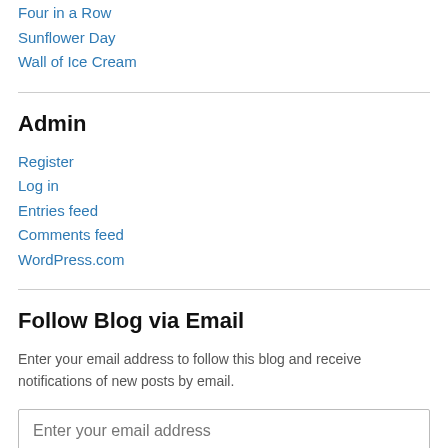Four in a Row
Sunflower Day
Wall of Ice Cream
Admin
Register
Log in
Entries feed
Comments feed
WordPress.com
Follow Blog via Email
Enter your email address to follow this blog and receive notifications of new posts by email.